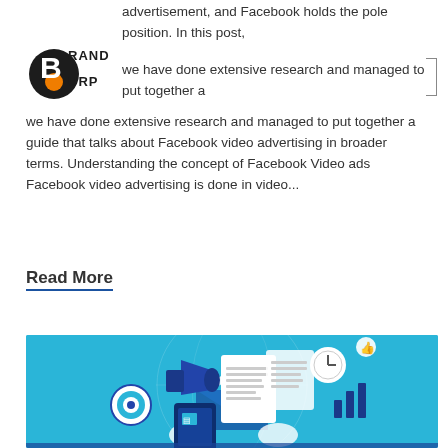[Figure (logo): BrandBurp logo - orange and dark circular text logo]
advertisement, and Facebook holds the pole position. In this post, we have done extensive research and managed to put together a guide that talks about Facebook video advertising in broader terms. Understanding the concept of Facebook Video ads Facebook video advertising is done in video...
Read More
[Figure (illustration): Digital marketing illustration on teal/blue background featuring a megaphone, email envelope, documents, clock, target/bullseye, bar chart, thumbs up, tablet device, and hands - flat design style infographic]